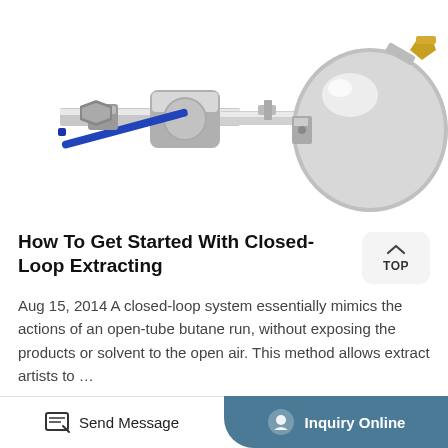[Figure (photo): Stainless steel closed-loop extraction equipment showing a ball valve with blue handle, pipe fittings, and a polished steel vessel/dome with brass fittings on white background.]
How To Get Started With Closed-Loop Extracting
Aug 15, 2014 A closed-loop system essentially mimics the actions of an open-tube butane run, without exposing the products or solvent to the open air. This method allows extract artists to …
More Product
Send Message   Inquiry Online